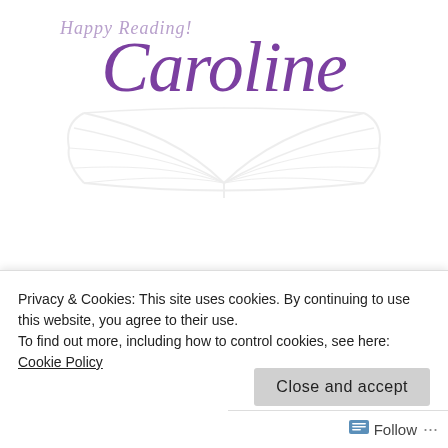[Figure (illustration): Handwritten-style script 'Happy Reading!' in light purple above a large cursive 'Caroline' in purple, with a light gray open book illustration in the background]
Advertisements
[Figure (infographic): Orange-red advertisement banner with white bold text: 'Search, browse, and email with more privacy']
Privacy & Cookies: This site uses cookies. By continuing to use this website, you agree to their use.
To find out more, including how to control cookies, see here: Cookie Policy
Close and accept
Follow